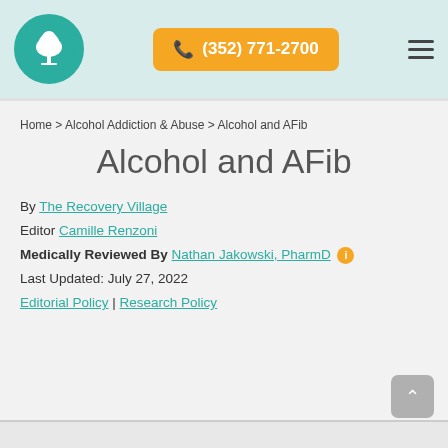The Recovery Village | (352) 771-2700
Home > Alcohol Addiction & Abuse > Alcohol and AFib
Alcohol and AFib
By The Recovery Village
Editor Camille Renzoni
Medically Reviewed By Nathan Jakowski, PharmD
Last Updated: July 27, 2022
Editorial Policy | Research Policy